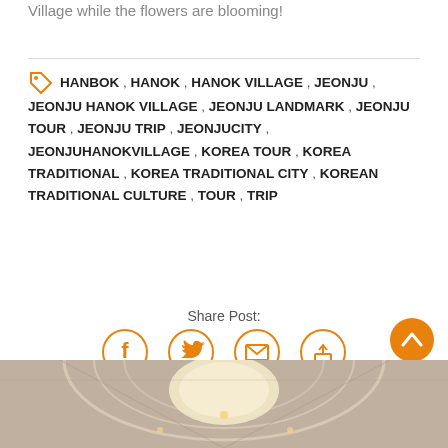Village while the flowers are blooming!
HANBOK , HANOK , HANOK VILLAGE , JEONJU , JEONJU HANOK VILLAGE , JEONJU LANDMARK , JEONJU TOUR , JEONJU TRIP , JEONJUCITY , JEONJUHANOKVILLAGE , KOREA TOUR , KOREA TRADITIONAL , KOREA TRADITIONAL CITY , KOREAN TRADITIONAL CULTURE , TOUR , TRIP
Share Post:
[Figure (infographic): Social share icons: Facebook, Twitter, Email, Share — all in orange circle outlines]
[Figure (photo): Interior ceiling of a building with arched glass/lantern structure and hanging lights]